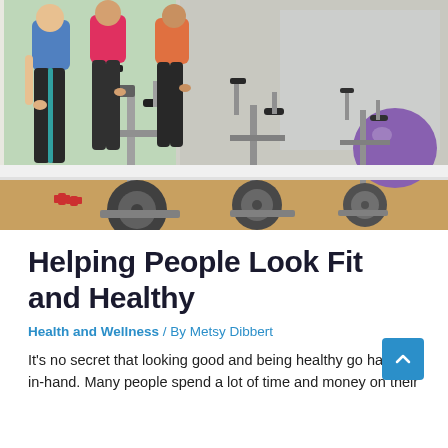[Figure (photo): Group of women exercising on stationary spin bikes in a gym, with red dumbbells visible on the floor and a purple exercise ball in the background. The image shows multiple stationary bikes in a row.]
Helping People Look Fit and Healthy
Health and Wellness / By Metsy Dibbert
It's no secret that looking good and being healthy go hand-in-hand. Many people spend a lot of time and money on their